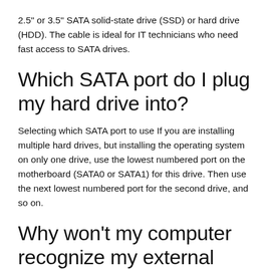2.5" or 3.5" SATA solid-state drive (SSD) or hard drive (HDD). The cable is ideal for IT technicians who need fast access to SATA drives.
Which SATA port do I plug my hard drive into?
Selecting which SATA port to use If you are installing multiple hard drives, but installing the operating system on only one drive, use the lowest numbered port on the motherboard (SATA0 or SATA1) for this drive. Then use the next lowest numbered port for the second drive, and so on.
Why won’t my computer recognize my external hard drive?
If your external hard drive is still not working, you may